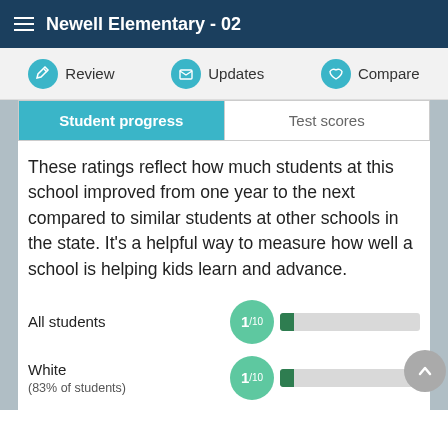Newell Elementary - 02
Student progress | Test scores
These ratings reflect how much students at this school improved from one year to the next compared to similar students at other schools in the state. It's a helpful way to measure how well a school is helping kids learn and advance.
All students 1/10
White (83% of students) 1/10